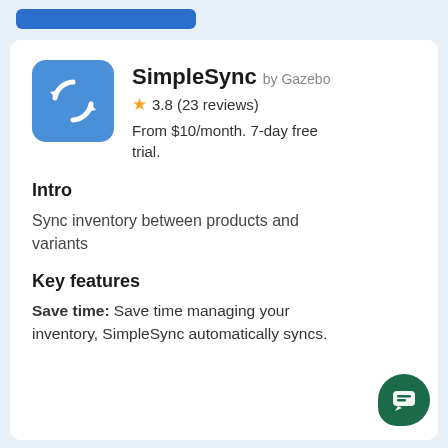[Figure (logo): SimpleSync app icon: blue rounded square with white circular sync arrows]
SimpleSync by Gazebo
3.8 (23 reviews)
From $10/month. 7-day free trial.
Intro
Sync inventory between products and variants
Key features
Save time: Save time managing your inventory, SimpleSync automatically syncs.